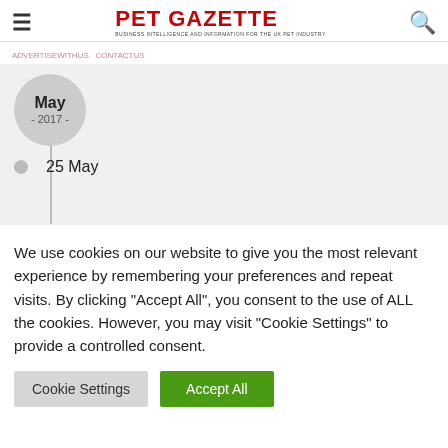PET GAZETTE — Business intelligence and information for the UK pet industry
May - 2017 -
25 May
We use cookies on our website to give you the most relevant experience by remembering your preferences and repeat visits. By clicking "Accept All", you consent to the use of ALL the cookies. However, you may visit "Cookie Settings" to provide a controlled consent.
Cookie Settings | Accept All